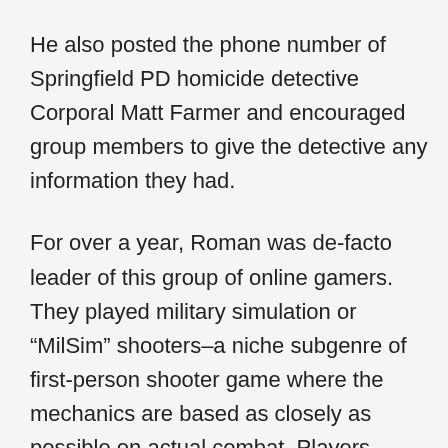He also posted the phone number of Springfield PD homicide detective Corporal Matt Farmer and encouraged group members to give the detective any information they had.
For over a year, Roman was de-facto leader of this group of online gamers. They played military simulation or “MilSim” shooters–a niche subgenre of first-person shooter game where the mechanics are based as closely as possible on actual combat. Players sometimes use actual military strategy manuals and schematics to make the experience as realistic as possible.
A...